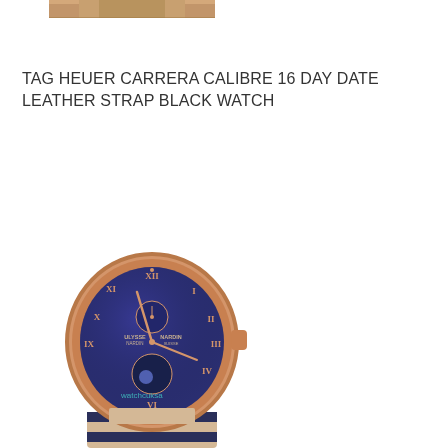[Figure (photo): Partial view of a watch with brown leather strap, cropped at top]
TAG HEUER CARRERA CALIBRE 16 DAY DATE LEATHER STRAP BLACK WATCH
[Figure (photo): Ulysse Nardin marine watch with blue/purple dial, gold rose case, Roman numerals, moon phase complication, and blue/beige rubber strap. Watermark reads 'watchcuksa']